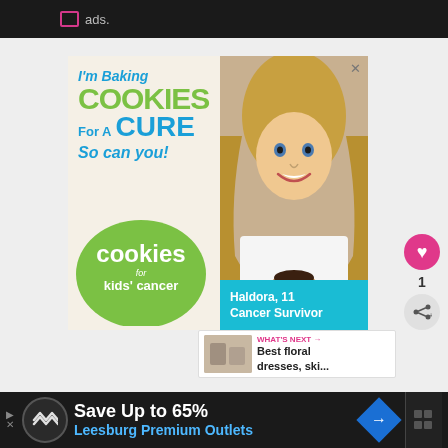ads.
[Figure (photo): Advertisement banner: 'I'm Baking COOKIES For A CURE So can you!' with Cookies for Kids' Cancer logo featuring a girl named Haldora, 11, Cancer Survivor holding cookies]
1
WHAT'S NEXT → Best floral dresses, ski...
[Figure (infographic): Bottom advertisement bar: Save Up to 65% Leesburg Premium Outlets with navigation icon]